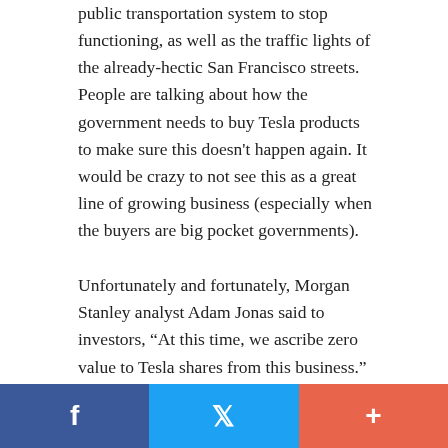public transportation system to stop functioning, as well as the traffic lights of the already-hectic San Francisco streets. People are talking about how the government needs to buy Tesla products to make sure this doesn't happen again. It would be crazy to not see this as a great line of growing business (especially when the buyers are big pocket governments).
Unfortunately and fortunately, Morgan Stanley analyst Adam Jonas said to investors, “At this time, we ascribe zero value to Tesla shares from this business.” To me. this just means untapped upside potentially not factored into the stock.
Competition expands market for Tesla,